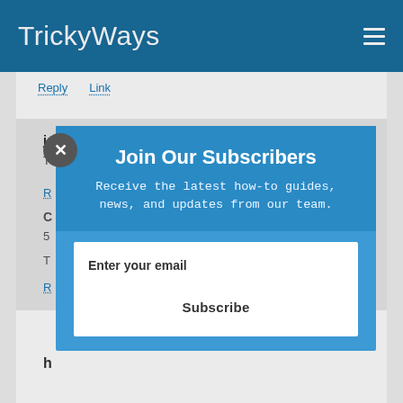TrickyWays
Reply   Link
johnejoe   August 14, 2011, 4:28 pm
T
R
C
5
T
R
h
[Figure (screenshot): Newsletter subscription modal overlay with blue background showing 'Join Our Subscribers' heading, subtitle 'Receive the latest how-to guides, news, and updates from our team.', an email input field labeled 'Enter your email', and a Subscribe button. A close (X) button is shown at the top-left of the modal.]